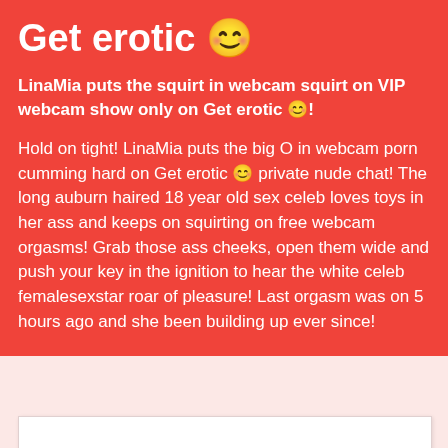Get erotic 😊
LinaMia puts the squirt in webcam squirt on VIP webcam show only on Get erotic 😊!
Hold on tight! LinaMia puts the big O in webcam porn cumming hard on Get erotic 😊 private nude chat! The long auburn haired 18 year old sex celeb loves toys in her ass and keeps on squirting on free webcam orgasms! Grab those ass cheeks, open them wide and push your key in the ignition to hear the white celeb femalesexstar roar of pleasure! Last orgasm was on 5 hours ago and she been building up ever since!
[Figure (other): White content area below the red section on a pink background]